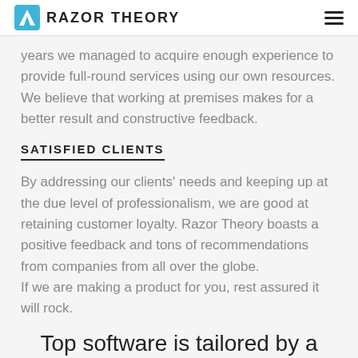RAZOR THEORY
years we managed to acquire enough experience to provide full-round services using our own resources. We believe that working at premises makes for a better result and constructive feedback.
SATISFIED CLIENTS
By addressing our clients' needs and keeping up at the due level of professionalism, we are good at retaining customer loyalty. Razor Theory boasts a positive feedback and tons of recommendations from companies from all over the globe. If we are making a product for you, rest assured it will rock.
Top software is tailored by a team that is trusted.